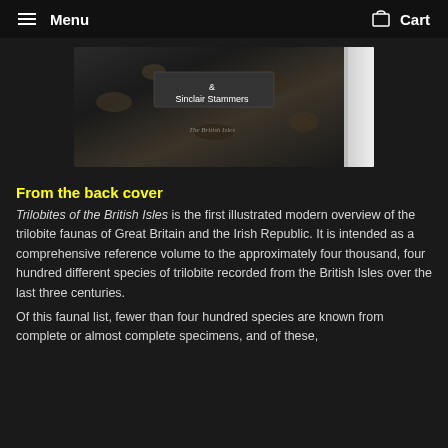Menu   Cart
[Figure (photo): Side view of a book spine showing authors '& Sinclair Stammers' on a dark rocky texture background with a white binding edge visible]
From the back cover
Trilobites of the British Isles is the first illustrated modern overview of the trilobite faunas of Great Britain and the Irish Republic. It is intended as a comprehensive reference volume to the approximately four thousand, four hundred different species of trilobite recorded from the British Isles over the last three centuries.
Of this faunal list, fewer than four hundred species are known from complete or almost complete specimens, and of these,